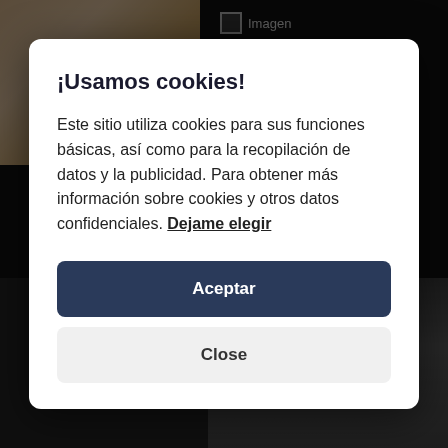[Figure (screenshot): Dark website background with music album thumbnail on the left showing a person holding a guitar, and on the right a broken image placeholder labeled 'Imagen' with text '1 . Back In Town' in gold/yellow color]
¡Usamos cookies!
Este sitio utiliza cookies para sus funciones básicas, así como para la recopilación de datos y la publicidad. Para obtener más información sobre cookies y otros datos confidenciales. Dejame elegir
Aceptar
Close
BlackRain - Back In Town
[Figure (photo): Bottom right thumbnail showing a black and white photo of people, partial view]